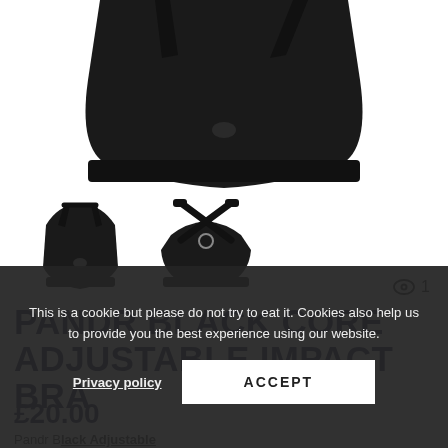[Figure (photo): Black sports bra product photo, top portion visible from above, cropped]
[Figure (photo): Two thumbnail images of the Pandr Black Core Adjustable Impact Bra, front and back views in black]
1 viewer
PANDR BLACK CORE ADJUSTABLE IMPACT BRA
£20.00
Pandr Black Adjustable
This is a cookie but please do not try to eat it. Cookies also help us to provide you the best experience using our website.
Privacy policy
ACCEPT